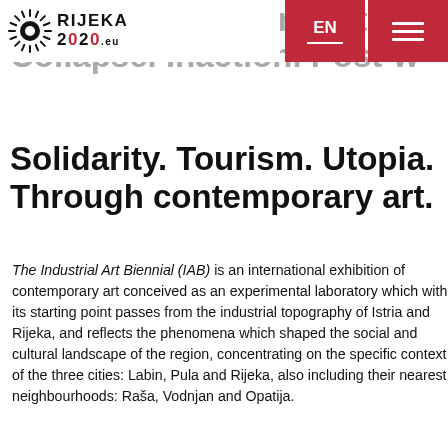Feminism. Film. Industry. Collapse. Inaction. Post-w... Solidarity. Tourism. Utopia. Through contemporary art. | EN | RIJEKA 2020.eu
Solidarity. Tourism. Utopia. Through contemporary art.
The Industrial Art Biennial (IAB) is an international exhibition of contemporary art conceived as an experimental laboratory which with its starting point passes from the industrial topography of Istria and Rijeka, and reflects the phenomena which shaped the social and cultural landscape of the region, concentrating on the specific context of the three cities: Labin, Pula and Rijeka, also including their nearest neighbourhoods: Raša, Vodnjan and Opatija.
In thirty or so works of contemporary Croatian and international artists, some of which have been created especially for this exhibition, the 3rd Industrial Art Biennial titled Ride into the Sun...